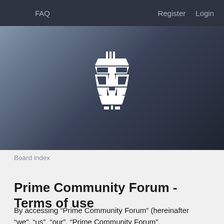FAQ    Register    Login
[Figure (logo): White geometric robot/Transformers style face logo on dark blue-grey gradient banner background]
Board index
Prime Community Forum - Terms of use
By accessing “Prime Community Forum” (hereinafter “we”, “us”, “our”, “Prime Community Forum”,